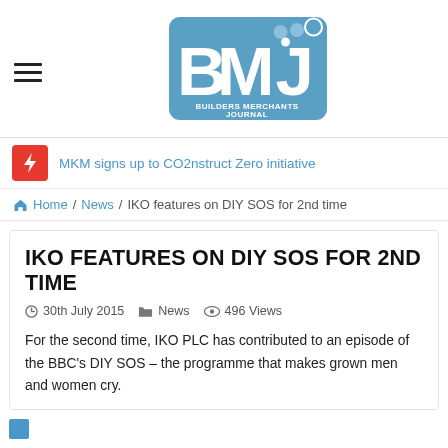[Figure (logo): BMJ Builders Merchants Journal logo — blue rounded rectangle with large white letters B, M, J and decorative circles, subtitle text BUILDERS MERCHANTS JOURNAL]
MKM signs up to CO2nstruct Zero initiative
Home / News / IKO features on DIY SOS for 2nd time
IKO FEATURES ON DIY SOS FOR 2ND TIME
30th July 2015   News   496 Views
For the second time, IKO PLC has contributed to an episode of the BBC's DIY SOS – the programme that makes grown men and women cry.